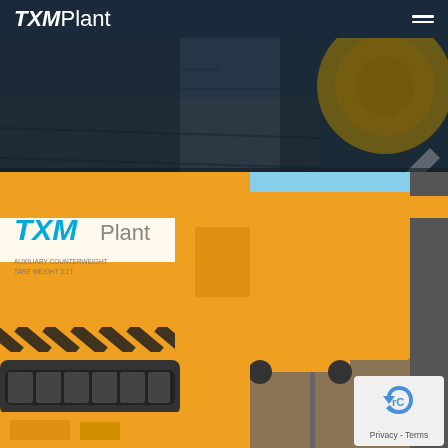TXMPlant
[Figure (photo): Dark navy/industrial background hero image showing rail track surface texture, partially visible orange rail machine wheel in top right corner]
[Figure (photo): Yellow TXM Plant branded heavy rail machinery including a large crawler crane/excavator with counterweight labeled 'AUXILIARY COUNTERWEIGHT TARE WEIGHT 3.1T', yellow diagonal hazard stripes, and rail track machines in background along railway tracks under blue sky]
Privacy - Terms